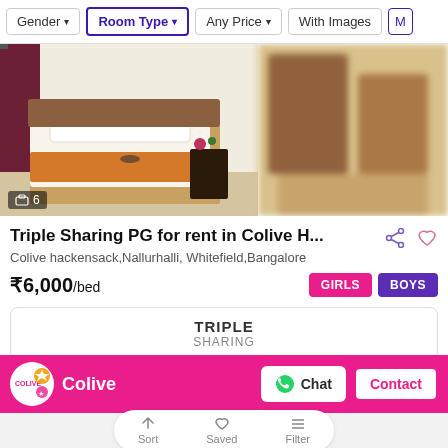Gender | Room Type | Any Price | With Images | M
[Figure (photo): Two photos side by side: left shows a bed with white sheet and orange runner in a room with dark curtains and nightstand with plants; right is blurred showing dark furniture]
Triple Sharing PG for rent in Colive H...
Colive hackensack,Nallurhalli, Whitefield,Bangalore
₹6,000/bed
GIRLS  BOYS
TRIPLE
SHARING
Rent property in the heart of Bengaluru city. Property for rent avail… Read more
Colive
Chat  Contact
Sort  Saved  Filter